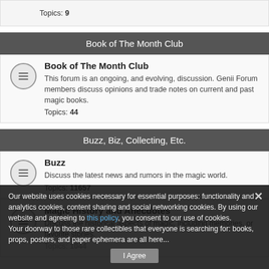Topics: 9
Book of The Month Club
Book of The Month Club
This forum is an ongoing, and evolving, discussion. Genii Forum members discuss opinions and trade notes on current and past magic books.
Topics: 44
Buzz, Biz, Collecting, Etc.
Buzz
Discuss the latest news and rumors in the magic world.
Topics: 11657
Magic History and Anecdotes
Discuss the historical aspects of magic, including memories, or favorite stories.
Topics: 1044
Our website uses cookies necessary for essential purposes: functionality and analytics cookies, content sharing and social networking cookies. By using our website and agreeing to this policy, you consent to our use of cookies.
Your doorway to those rare collectibles that everyone is searching for: books, props, posters, and paper ephemera are all here...
I Agree